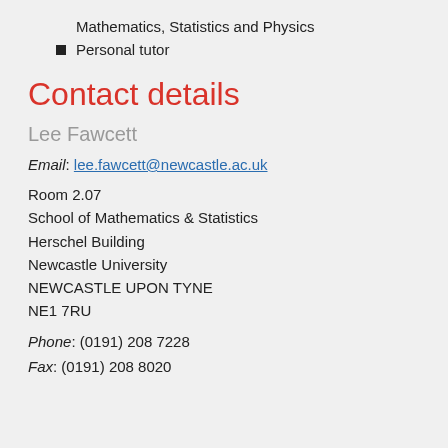Mathematics, Statistics and Physics
Personal tutor
Contact details
Lee Fawcett
Email: lee.fawcett@newcastle.ac.uk
Room 2.07
School of Mathematics & Statistics
Herschel Building
Newcastle University
NEWCASTLE UPON TYNE
NE1 7RU
Phone: (0191) 208 7228
Fax: (0191) 208 8020